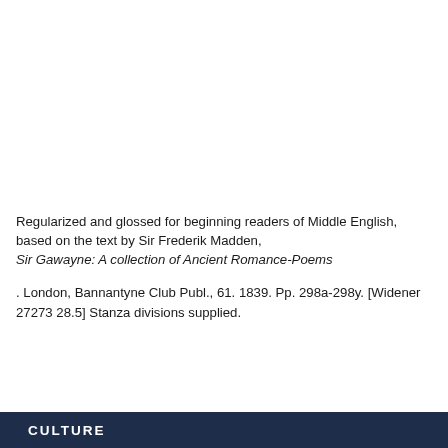Regularized and glossed for beginning readers of Middle English, based on the text by Sir Frederik Madden, Sir Gawayne: A collection of Ancient Romance-Poems
. London, Bannantyne Club Publ., 61. 1839. Pp. 298a-298y. [Widener 27273 28.5] Stanza divisions supplied.
CULTURE